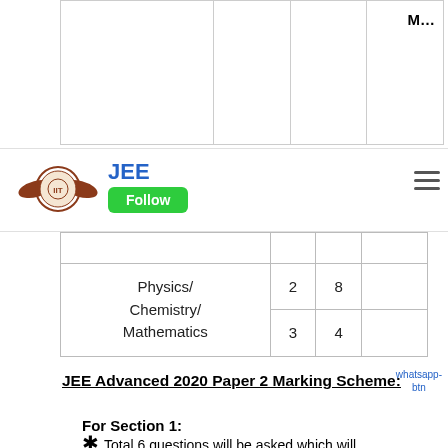|  |  |  | M... |
| --- | --- | --- | --- |
| Physics/ Chemistry/ Mathematics | 2 | 8 |  |
|  | 3 | 4 |  |
[Figure (logo): JEE circular emblem logo with eagle wings]
JEE
Follow
JEE Advanced 2020 Paper 2 Marking Scheme:
For Section 1:
Total 6 questions will be asked which will